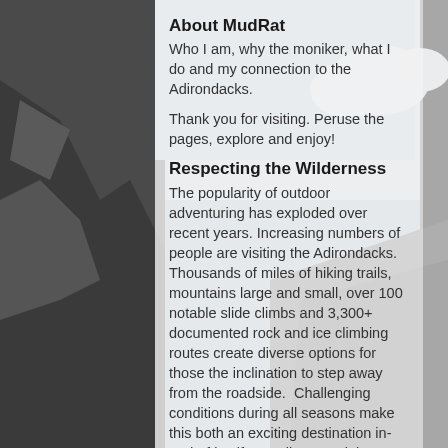[Figure (photo): Background photo of rocky mountain cliff face with sky, shown on left and right sides of the page]
About MudRat
Who I am, why the moniker, what I do and my connection to the Adirondacks.
Thank you for visiting. Peruse the pages, explore and enjoy!
Respecting the Wilderness
The popularity of outdoor adventuring has exploded over recent years. Increasing numbers of people are visiting the Adirondacks. Thousands of miles of hiking trails, mountains large and small, over 100 notable slide climbs and 3,300+ documented rock and ice climbing routes create diverse options for those the inclination to step away from the roadside.  Challenging conditions during all seasons make this both an exciting destination in-and-of itself as well as a training ground for grander mountaineering expeditions